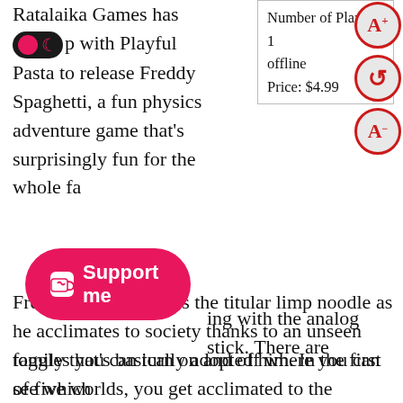Ratalaika Games has [toggle] up with Playful Pasta to release Freddy Spaghetti, a fun physics adventure game that's surprisingly fun for the whole fa
| Number of Players: 1 |
| offline |
| Price: $4.99 |
[Figure (infographic): Three circular UI control buttons with red borders on grey background: A+ (increase text), refresh/rotate arrow, A- (decrease text)]
Freddy Spaghetti stars the titular limp noodle as he acclimates to society thanks to an unseen family that's basically adopted him. In the first of five worlds, you get acclimated to the controls of the game while completing different tasks, from kicking a soccer ball into a goal to doing a doorbell ditch routine as a prank. The main gameplay mechanic is that you're playing… well, as a spaghetti noodle; as such, you have a different method of moving, since you can bounce on both ends using the L1 [Support me button] ing with the analog stick. There are toggles you can turn on and off where you can see which
[Figure (infographic): Ko-fi Support me button - red rounded pill button with white Ko-fi cup icon and text 'Support me']